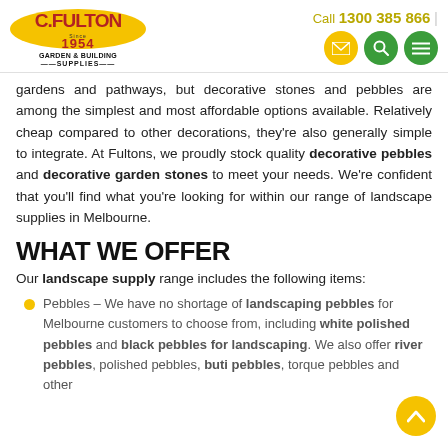C. Fulton Garden & Building Supplies — Call 1300 385 866
gardens and pathways, but decorative stones and pebbles are among the simplest and most affordable options available. Relatively cheap compared to other decorations, they're also generally simple to integrate. At Fultons, we proudly stock quality decorative pebbles and decorative garden stones to meet your needs. We're confident that you'll find what you're looking for within our range of landscape supplies in Melbourne.
WHAT WE OFFER
Our landscape supply range includes the following items:
Pebbles – We have no shortage of landscaping pebbles for Melbourne customers to choose from, including white polished pebbles and black pebbles for landscaping. We also offer river pebbles, polished pebbles, buti pebbles, torque pebbles and other